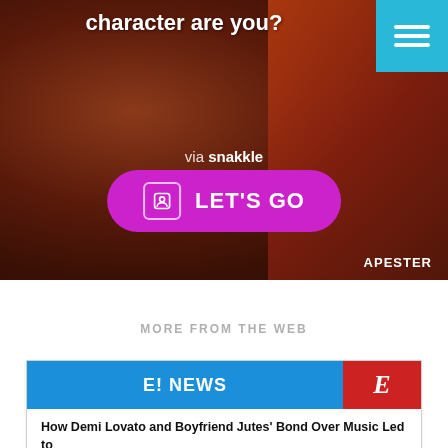[Figure (screenshot): Hero image with dark brownish-red background showing blurred figures. Contains a quiz prompt 'character are you?', a teal hamburger menu button in top-right, 'via snakkle' text, a magenta 'LET'S GO' button, and 'APESTER' branding in bottom-right.]
MORE FROM THE WEB
[Figure (screenshot): E! News card with blue header bar showing 'E! NEWS' and red box with 'E' logo on right. Article headline: 'How Demi Lovato and Boyfriend Jutes' Bond Over Music Led to']